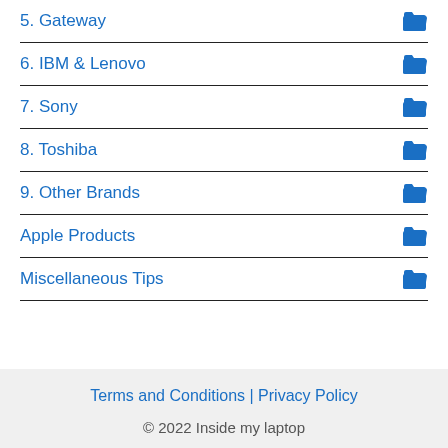5. Gateway
6. IBM & Lenovo
7. Sony
8. Toshiba
9. Other Brands
Apple Products
Miscellaneous Tips
Terms and Conditions | Privacy Policy
© 2022 Inside my laptop